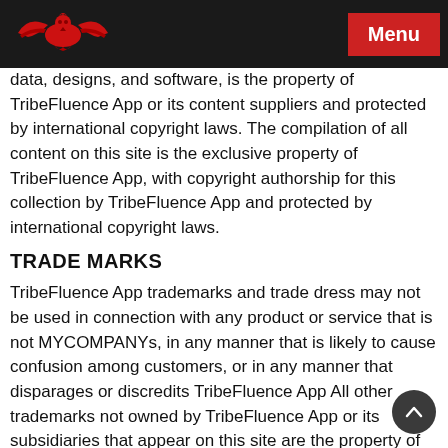Menu
data, designs, and software, is the property of TribeFluence App or its content suppliers and protected by international copyright laws. The compilation of all content on this site is the exclusive property of TribeFluence App, with copyright authorship for this collection by TribeFluence App and protected by international copyright laws.
TRADE MARKS
TribeFluence App trademarks and trade dress may not be used in connection with any product or service that is not MYCOMPANYs, in any manner that is likely to cause confusion among customers, or in any manner that disparages or discredits TribeFluence App All other trademarks not owned by TribeFluence App or its subsidiaries that appear on this site are the property of their respective owners, who may or may not be affiliated with, connected to, or sponsored by TribeFluence App or its